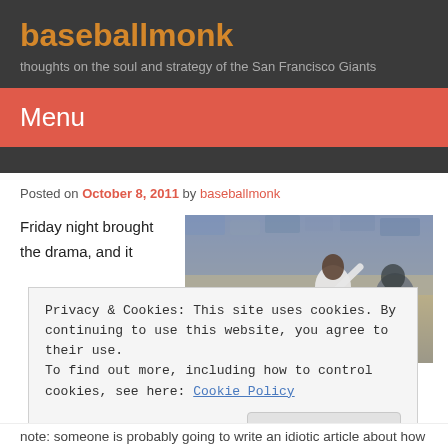baseballmonk
thoughts on the soul and strategy of the San Francisco Giants
Menu
Posted on October 8, 2011 by baseballmonk
Friday night brought the drama, and it
[Figure (photo): Baseball player celebrating in a crowd, Milwaukee Brewers game]
Privacy & Cookies: This site uses cookies. By continuing to use this website, you agree to their use.
To find out more, including how to control cookies, see here: Cookie Policy
Close and accept
note: someone is probably going to write an idiotic article about how